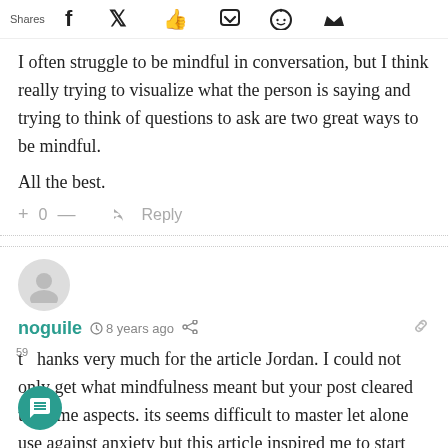Shares [social icons: Facebook, Twitter, Like, Pocket, Reddit, Crown]
I often struggle to be mindful in conversation, but I think really trying to visualize what the person is saying and trying to think of questions to ask are two great ways to be mindful.
All the best.
+ 0 — Reply
noguile  8 years ago
thanks very much for the article Jordan. I could not only get what mindfulness meant but your post cleared up some aspects. its seems difficult to master let alone use against anxiety but this article inspired me to start